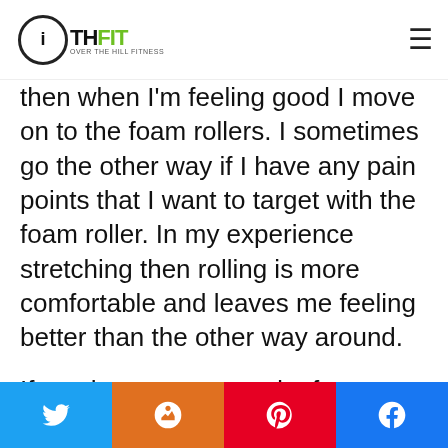OTHFIT — Over The Hill Fitness
then when I'm feeling good I move on to the foam rollers. I sometimes go the other way if I have any pain points that I want to target with the foam roller. In my experience stretching then rolling is more comfortable and leaves me feeling better than the other way around.
If you have never used a foam roller I can't recommend it enough. I just tried it a couple of months ago after I hurt my back. Here is my foam roller buyers guide if you are looking for a good
Share buttons: Twitter, Mix, Pinterest, Facebook